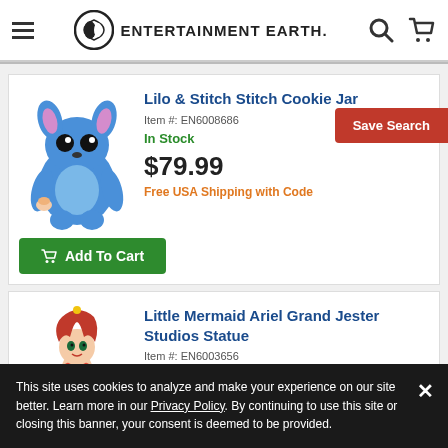Entertainment Earth
Lilo & Stitch Stitch Cookie Jar
Item #: EN6008686
In Stock
$79.99
Free USA Shipping with Code
Add To Cart
Little Mermaid Ariel Grand Jester Studios Statue
Item #: EN6003656
In Stock
$79.99
This site uses cookies to analyze and make your experience on our site better. Learn more in our Privacy Policy. By continuing to use this site or closing this banner, your consent is deemed to be provided.